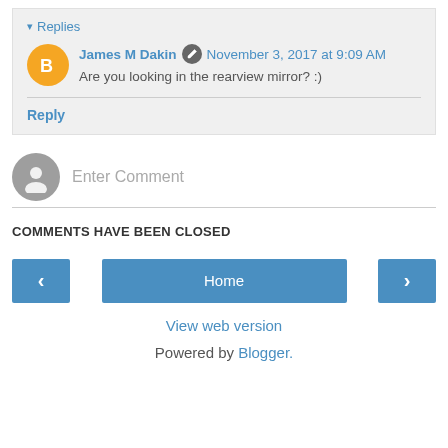▾ Replies
James M Dakin [edit icon] November 3, 2017 at 9:09 AM
Are you looking in the rearview mirror? :)
Reply
Enter Comment
COMMENTS HAVE BEEN CLOSED
< Home >
View web version
Powered by Blogger.